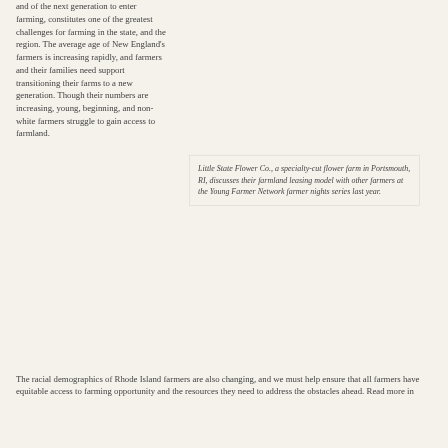and of the next generation to enter farming, constitutes one of the greatest challenges for farming in the state, and the region. The average age of New England's farmers is increasing rapidly, and farmers and their families need support transitioning their farms to a new generation. Though their numbers are increasing, young, beginning, and non-white farmers struggle to gain access to farmland.
Little State Flower Co., a specialty-cut flower farm in Portsmouth, RI, discusses their farmland leasing model with other farmers at the Young Farmer Network farmer nights series last year.
The racial demographics of Rhode Island farmers are also changing, and we must help ensure that all farmers have equitable access to farming opportunity and the resources they need to address the obstacles ahead. Read more in